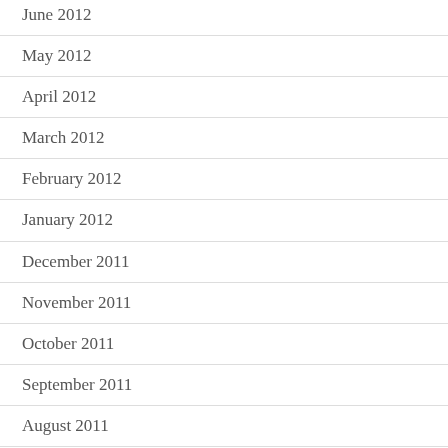June 2012
May 2012
April 2012
March 2012
February 2012
January 2012
December 2011
November 2011
October 2011
September 2011
August 2011
July 2011
June 2011